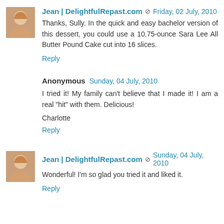Jean | DelightfulRepast.com  Friday, 02 July, 2010
Thanks, Sully. In the quick and easy bachelor version of this dessert, you could use a 10.75-ounce Sara Lee All Butter Pound Cake cut into 16 slices.
Reply
Anonymous  Sunday, 04 July, 2010
I tried it! My family can't believe that I made it! I am a real "hit" with them. Delicious!

Charlotte
Reply
Jean | DelightfulRepast.com  Sunday, 04 July, 2010
Wonderful! I'm so glad you tried it and liked it.
Reply